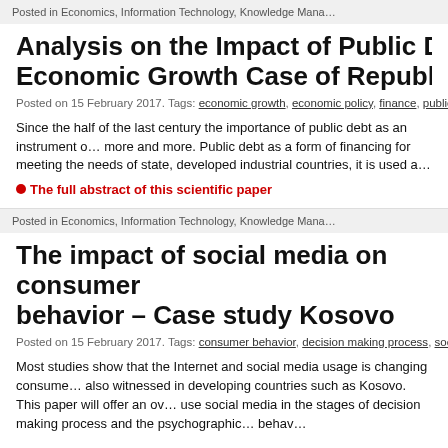Posted in Economics, Information Technology, Knowledge Mana…
Analysis on the Impact of Public Debt on Economic Growth Case of Republic of Ko…
Posted on 15 February 2017. Tags: economic growth, economic policy, finance, public de…
Since the half of the last century the importance of public debt as an instrument of more and more. Public debt as a form of financing for meeting the needs of state, developed industrial countries, it is used a lot in developing countries or countries…
● The full abstract of this scientific paper
Posted in Economics, Information Technology, Knowledge Mana…
The impact of social media on consumer behavior – Case study Kosovo
Posted on 15 February 2017. Tags: consumer behavior, decision making process, social…
Most studies show that the Internet and social media usage is changing consume… also witnessed in developing countries such as Kosovo. This paper will offer an ov… use social media in the stages of decision making process and the psychographic… behav…